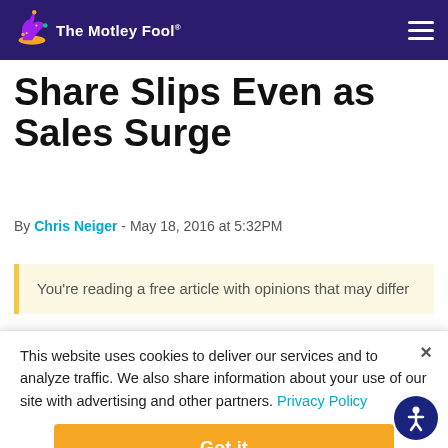The Motley Fool
Share Slips Even as Sales Surge
By Chris Neiger - May 18, 2016 at 5:32PM
You're reading a free article with opinions that may differ
This website uses cookies to deliver our services and to analyze traffic. We also share information about your use of our site with advertising and other partners. Privacy Policy
Got it
Cookie Settings